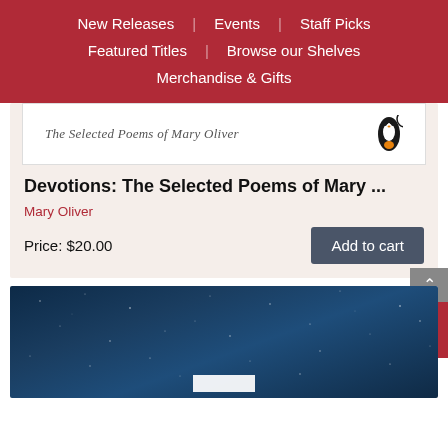New Releases | Events | Staff Picks | Featured Titles | Browse our Shelves | Merchandise & Gifts
[Figure (illustration): Top portion of a book cover for Devotions: The Selected Poems of Mary Oliver, showing the subtitle text in italic serif and a Penguin logo on a white background]
Devotions: The Selected Poems of Mary ...
Mary Oliver
Price: $20.00
[Figure (illustration): Bottom portion showing a dark blue starry night sky book cover, partially visible, with a white label region at the bottom]